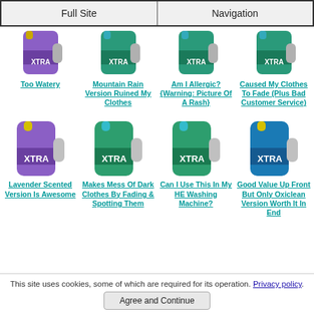Full Site | Navigation
[Figure (photo): XTRA laundry detergent bottle - Too Watery]
[Figure (photo): XTRA laundry detergent bottle - Mountain Rain Version Ruined My Clothes]
[Figure (photo): XTRA laundry detergent bottle - Am I Allergic? Warning Picture Of A Rash]
[Figure (photo): XTRA laundry detergent bottle - Caused My Clothes To Fade Plus Bad Customer Service]
Too Watery
Mountain Rain Version Ruined My Clothes
Am I Allergic? {Warning: Picture Of A Rash}
Caused My Clothes To Fade (Plus Bad Customer Service)
[Figure (photo): XTRA lavender scented laundry detergent bottle]
[Figure (photo): XTRA green laundry detergent bottle - Makes Mess Of Dark Clothes]
[Figure (photo): XTRA green laundry detergent bottle - Can I Use This In My HE Washing Machine]
[Figure (photo): XTRA blue Oxiclean laundry detergent bottle]
Lavender Scented Version Is Awesome
Makes Mess Of Dark Clothes By Fading & Spotting Them
Can I Use This In My HE Washing Machine?
Good Value Up Front But Only Oxiclean Version Worth It In End
This site uses cookies, some of which are required for its operation. Privacy policy.
Agree and Continue